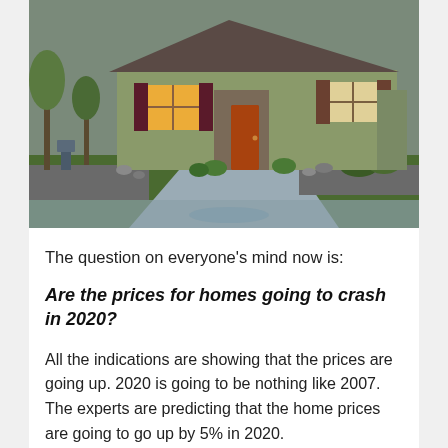[Figure (photo): Exterior photo of a suburban single-story house with green lawn, red front door, orange-lit windows, stone accents, and wet driveway during overcast/rain conditions.]
The question on everyone's mind now is:
Are the prices for homes going to crash in 2020?
All the indications are showing that the prices are going up. 2020 is going to be nothing like 2007. The experts are predicting that the home prices are going to go up by 5% in 2020.